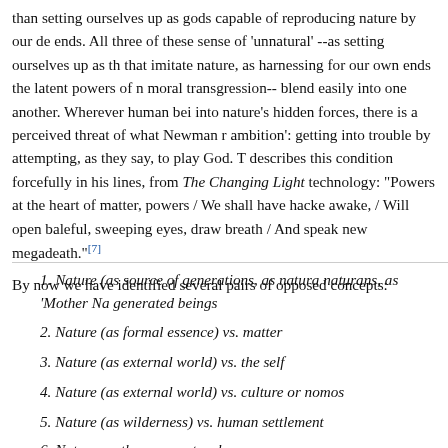than setting ourselves up as gods capable of reproducing nature by our de ends. All three of these sense of 'unnatural' --as setting ourselves up as th that imitate nature, as harnessing for our own ends the latent powers of m moral transgression-- blend easily into one another. Wherever human bei into nature's hidden forces, there is a perceived threat of what Newman r ambition': getting into trouble by attempting, as they say, to play God. T describes this condition forcefully in his lines, from The Changing Light technology: "Powers at the heart of matter, powers / We shall have hacke awake, / Will open baleful, sweeping eyes, draw breath / And speak new megadeath."[7]
By now we have identified several pairs of opposed concepts:
1. Nature (as source of generations, as natura naturans, as 'Mother Na generated beings
2. Nature (as formal essence) vs. matter
3. Nature (as external world) vs. the self
4. Nature (as external world) vs. culture or nomos
5. Nature (as wilderness) vs. human settlement
6. Nature vs. the supernatural